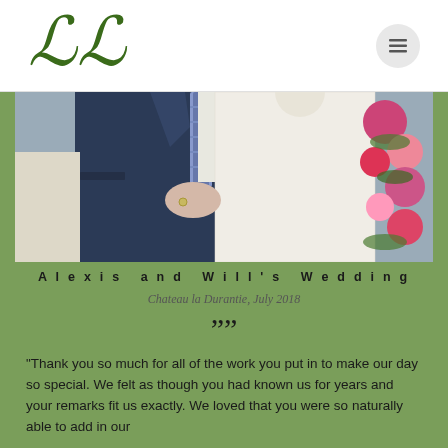[Figure (logo): Decorative cursive double-L monogram logo in dark green]
[Figure (photo): Wedding couple photo: groom in navy suit with striped tie, bride in lace dress with hand on groom's chest, floral background]
Alexis and Will's Wedding
Chateau la Durantie, July 2018
"Thank you so much for all of the work you put in to make our day so special. We felt as though you had known us for years and your remarks fit us exactly. We loved that you were so naturally able to add in our